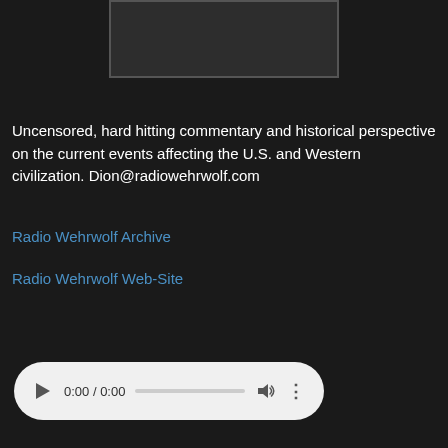[Figure (screenshot): Dark thumbnail image placeholder at top center]
Uncensored, hard hitting commentary and historical perspective on the current events affecting the U.S. and Western civilization. Dion@radiowehrwolf.com
Radio Wehrwolf Archive
Radio Wehrwolf Web-Site
[Figure (screenshot): Audio player control bar showing 0:00 / 0:00 with play button, progress bar, volume icon, and more options icon]